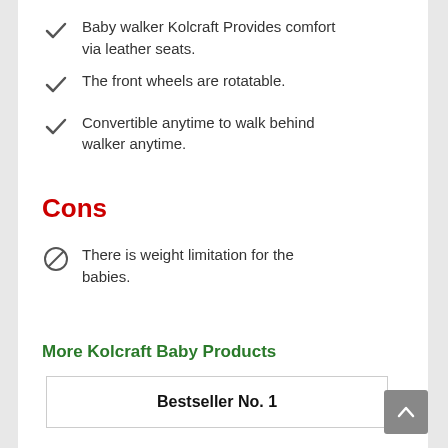Baby walker Kolcraft Provides comfort via leather seats.
The front wheels are rotatable.
Convertible anytime to walk behind walker anytime.
Cons
There is weight limitation for the babies.
More Kolcraft Baby Products
Bestseller No. 1